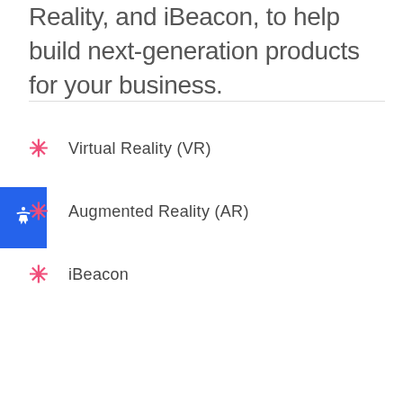Reality, and iBeacon, to help build next-generation products for your business.
Virtual Reality (VR)
Augmented Reality (AR)
iBeacon